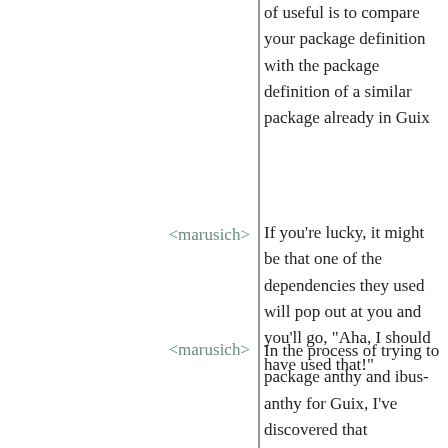of useful is to compare your package definition with the package definition of a similar package already in Guix
<marusich>
If you're lucky, it might be that one of the dependencies they used will pop out at you and you'll go, "Aha, I should have used that!"
<marusich>
In the process of trying to package anthy and ibus-anthy for Guix, I've discovered that